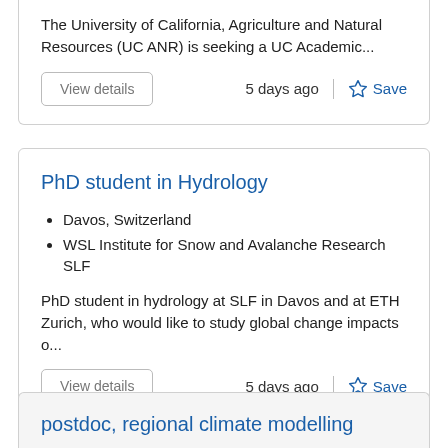The University of California, Agriculture and Natural Resources (UC ANR) is seeking a UC Academic...
5 days ago
Save
PhD student in Hydrology
Davos, Switzerland
WSL Institute for Snow and Avalanche Research SLF
PhD student in hydrology at SLF in Davos and at ETH Zurich, who would like to study global change impacts o...
5 days ago
Save
postdoc, regional climate modelling